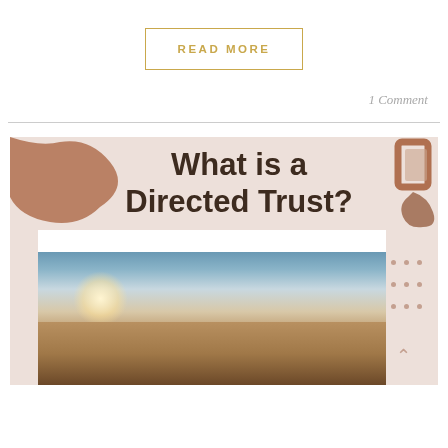READ MORE
1 Comment
[Figure (illustration): Promotional card with text 'What is a Directed Trust?' over a pinkish-beige background with decorative brown blobs and a beach sunset photo at the bottom.]